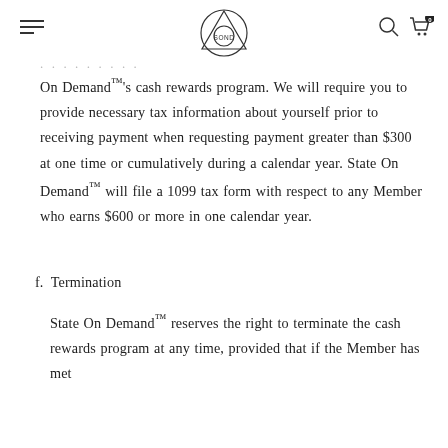SOND logo with navigation menu and cart icons
On Demand™'s cash rewards program. We will require you to provide necessary tax information about yourself prior to receiving payment when requesting payment greater than $300 at one time or cumulatively during a calendar year. State On Demand™ will file a 1099 tax form with respect to any Member who earns $600 or more in one calendar year.
f. Termination
State On Demand™ reserves the right to terminate the cash rewards program at any time, provided that if the Member has met